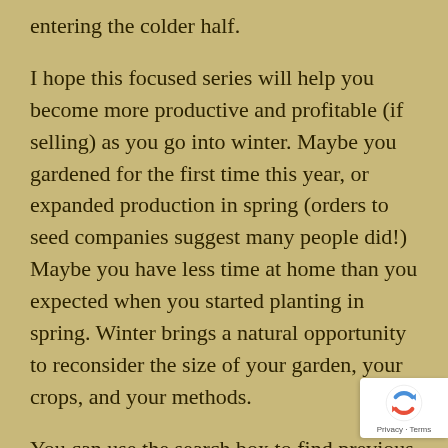entering the colder half.
I hope this focused series will help you become more productive and profitable (if selling) as you go into winter. Maybe you gardened for the first time this year, or expanded production in spring (orders to seed companies suggest many people did!) Maybe you have less time at home than you expected when you started planting in spring. Winter brings a natural opportunity to reconsider the size of your garden, your crops, and your methods.
You can use the search box to find previous month's entries, such as October.
[Figure (logo): reCAPTCHA badge with circular arrow logo and Privacy - Terms text]